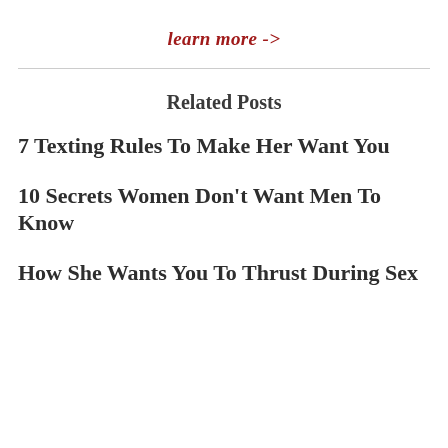learn more ->
Related Posts
7 Texting Rules To Make Her Want You
10 Secrets Women Don't Want Men To Know
How She Wants You To Thrust During Sex